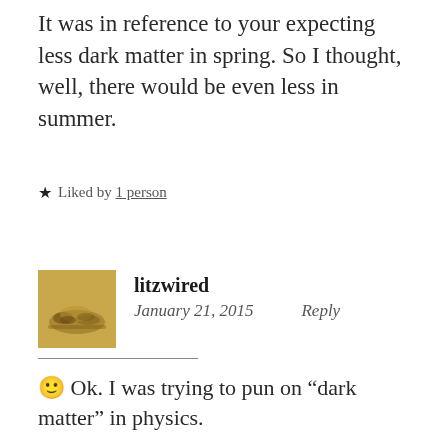It was in reference to your expecting less dark matter in spring. So I thought, well, there would be even less in summer.
★ Liked by 1 person
litzwired
January 21, 2015   Reply
🙂 Ok. I was trying to pun on “dark matter” in physics.
★ Like